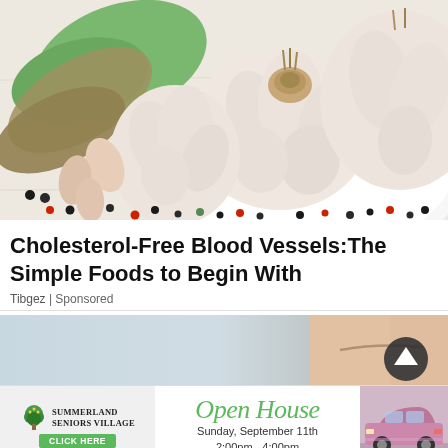[Figure (photo): Photo of garlic bulbs on a white plate with bay leaves, garlic cloves, and colorful peppercorns scattered on a rustic white wooden surface]
Cholesterol-Free Blood Vessels:The Simple Foods to Begin With
Tibgez | Sponsored
[Figure (photo): Partial view of a person's forehead/face on the right side with a light blue/grey background on the left, and a dark circular scroll-to-top button]
[Figure (infographic): Advertisement banner for Summerland Seniors Village Open House, Sunday September 11th, 2:00pm - 4:00pm, with a tree logo, green CLICK HERE button, stylized Open House text, and a pink car image on the right]